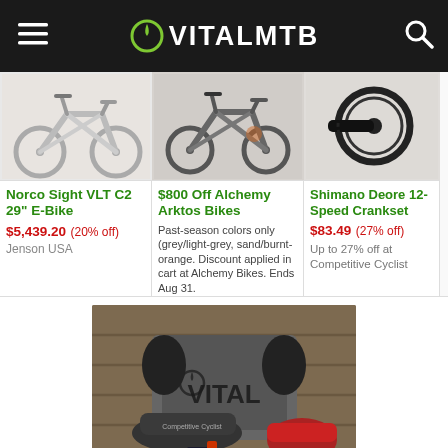VITALMTB
[Figure (photo): Norco Sight VLT C2 29 E-Bike product photo showing silver mountain bike]
Norco Sight VLT C2 29" E-Bike
$5,439.20 (20% off)
Jenson USA
[Figure (photo): Alchemy Arktos mountain bike product photo]
$800 Off Alchemy Arktos Bikes
Past-season colors only (grey/light-grey, sand/burnt-orange. Discount applied in cart at Alchemy Bikes. Ends Aug 31.
[Figure (photo): Shimano Deore 12-Speed Crankset product photo]
Shimano Deore 12-Speed Crankset
$83.49 (27% off)
Up to 27% off at Competitive Cyclist
[Figure (photo): VitalMTB branded merchandise: t-shirt, hat, accessories and snacks on a wood background]